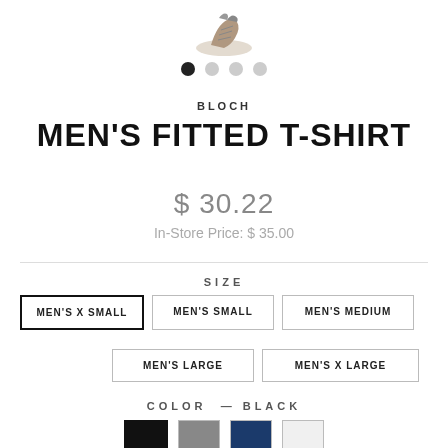[Figure (photo): Partial view of a dance/ballet shoe at the top of the product page]
[Figure (other): Image carousel navigation dots: 4 dots, first one filled/active, rest empty/gray]
BLOCH
MEN'S FITTED T-SHIRT
$ 30.22
In-Store Price: $ 35.00
SIZE
MEN'S X SMALL
MEN'S SMALL
MEN'S MEDIUM
MEN'S LARGE
MEN'S X LARGE
COLOR — BLACK
[Figure (other): Color swatches: black (selected), gray, navy blue, white/light]